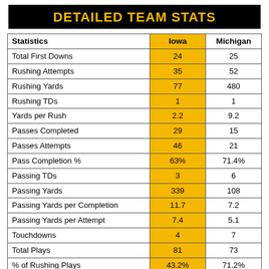DETAILED TEAM STATS
| Statistics | Iowa | Michigan |
| --- | --- | --- |
| Total First Downs | 24 | 25 |
| Rushing Attempts | 35 | 52 |
| Rushing Yards | 77 | 480 |
| Rushing TDs | 1 | 1 |
| Yards per Rush | 2.2 | 9.2 |
| Passes Completed | 29 | 15 |
| Passes Attempts | 46 | 21 |
| Pass Completion % | 63% | 71.4% |
| Passing TDs | 3 | 6 |
| Passing Yards | 339 | 108 |
| Passing Yards per Completion | 11.7 | 7.2 |
| Passing Yards per Attempt | 7.4 | 5.1 |
| Touchdowns | 4 | 7 |
| Total Plays | 81 | 73 |
| % of Rushing Plays | 43.2% | 71.2% |
| % of Passing Plays | 56.8% | 28.8% |